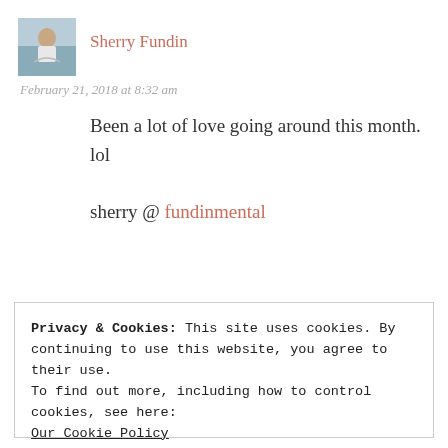[Figure (photo): Avatar photo of person sitting by water, seen from behind]
Sherry Fundin
February 21, 2018 at 8:32 am
Been a lot of love going around this month. lol
sherry @ fundinmental
[Figure (photo): Partial avatar image of a second commenter]
Privacy & Cookies: This site uses cookies. By continuing to use this website, you agree to their use.
To find out more, including how to control cookies, see here:
Our Cookie Policy
Close and accept